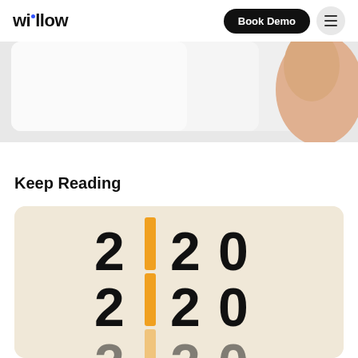willow | Book Demo
[Figure (photo): Partial image of a person against a light gray background, cropped at the top portion]
Keep Reading
[Figure (illustration): Beige/cream card with bold stylized '2020 2020 2020' text stacked vertically, with orange/gold vertical bar replacing the first zero in each row, on a warm beige background]